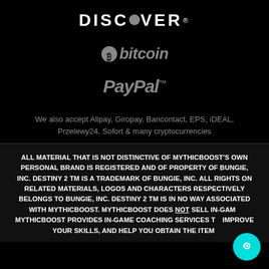[Figure (logo): DISCOVER logo in white capital letters with a grey circle replacing the O]
[Figure (logo): Bitcoin logo: grey Bitcoin symbol followed by italic grey text 'bitcoin']
[Figure (logo): PayPal logo in italic bold grey text with trademark symbol]
We also accept Alipay, Giropay, Bancontact, EPS, iDEAL, Przelewy24, Sofort & many cryptocurrencies
ALL MATERIAL THAT IS NOT DISTINCTIVE OF MYTHICBOOST'S OWN PERSONAL BRAND IS REGISTERED AND OF PROPERTY OF BUNGIE, INC. DESTINY 2 TM IS A TRADEMARK OF BUNGIE, INC. ALL RIGHTS ON RELATED MATERIALS, LOGOS AND CHARACTERS RESPECTIVELY BELONGS TO BUNGIE, INC. DESTINY 2 TM IS IN NO WAY ASSOCIATED WITH MYTHICBOOST. MYTHICBOOST DOES NOT SELL IN-GAME MYTHICBOOST PROVIDES IN-GAME COACHING SERVICES TO IMPROVE YOUR SKILLS, AND HELP YOU OBTAIN THE ITEM.